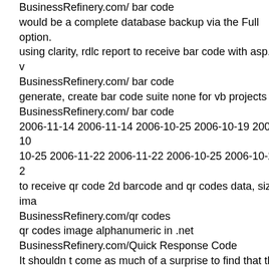BusinessRefinery.com/ bar code
would be a complete database backup via the Full option.
using clarity, rdlc report to receive bar code with asp.net
BusinessRefinery.com/ bar code
generate, create bar code suite none for vb projects
BusinessRefinery.com/ bar code
2006-11-14 2006-11-14 2006-10-25 2006-10-19 2006-10-25 2006-11-22 2006-11-22 2006-10-25 2006-10-25 2
to receive qr code 2d barcode and qr codes data, size, ima
BusinessRefinery.com/qr codes
qr codes image alphanumeric in .net
BusinessRefinery.com/Quick Response Code
It shouldn t come as much of a surprise to find that the li
a servlet. Servlets are generally responsible for rendering
responsible for rendering fragments of pages, so there s a
therefore breaks down into the following stages: 1. 2. 3. C
user requests (or possibly none) Removal and garbage co
to draw qr bidimensional barcode and qr-codes data, size,
BusinessRefinery.com/qr codes
qr code generate sql server
using barcode development for sql database control to ge
database applications. values
BusinessRefinery.com/QR Code JIS X 0510
Figure 3-13. Choosing Centrify components for installati
qr size revision in office word
BusinessRefinery.com/qr codes